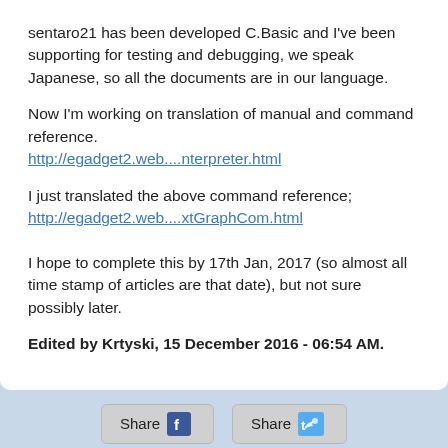sentaro21 has been developed C.Basic and I've been supporting for testing and debugging, we speak Japanese, so all the documents are in our language.
Now I'm working on translation of manual and command reference.
http://egadget2.web....nterpreter.html
I just translated the above command reference;
http://egadget2.web....xtGraphCom.html
I hope to complete this by 17th Jan, 2017 (so almost all time stamp of articles are that date), but not sure possibly later.
Edited by Krtyski, 15 December 2016 - 06:54 AM.
[Figure (screenshot): Share buttons for Facebook and Twitter]
Full Version